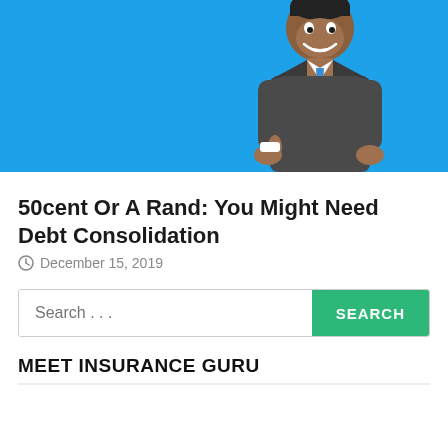[Figure (illustration): Blue background illustration with a cartoon man in a dark suit and blue tie giving a thumbs up, smiling.]
50cent Or A Rand: You Might Need Debt Consolidation
December 15, 2019
Search ...
MEET INSURANCE GURU